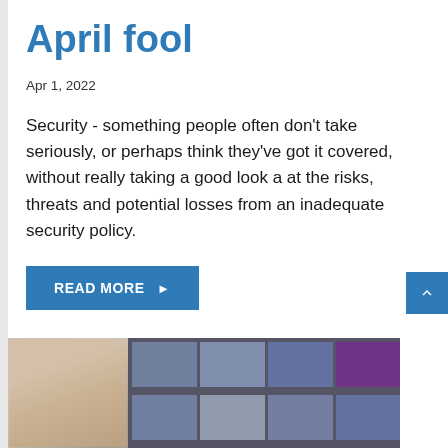April fool
Apr 1, 2022
Security - something people often don't take seriously, or perhaps think they've got it covered, without really taking a good look a at the risks, threats and potential losses from an inadequate security policy.
READ MORE ▶
[Figure (photo): A person with blonde hair on left, and a security camera monitor wall with multiple screens on the right, blurred background]